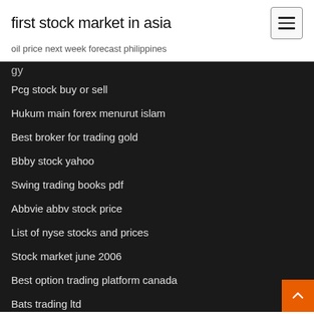first stock market in asia
oil price next week forecast philippines
Pcg stock buy or sell
Hukum main forex menurut islam
Best broker for trading gold
Bbby stock yahoo
Swing trading books pdf
Abbvie abbv stock price
List of nyse stocks and prices
Stock market june 2006
Best option trading platform canada
Bats trading ltd